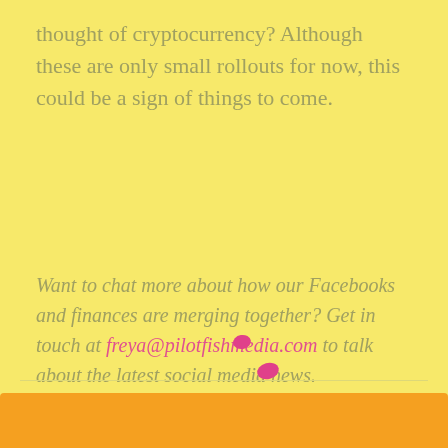thought of cryptocurrency? Although these are only small rollouts for now, this could be a sign of things to come.
Want to chat more about how our Facebooks and finances are merging together? Get in touch at freya@pilotfishmedia.com to talk about the latest social media news.